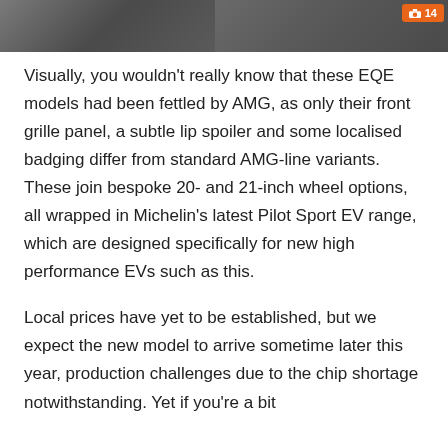[Figure (photo): Interior photo of a car showing dark grey/charcoal seats, partially cropped at the top of the page. An orange image counter badge showing a camera icon and '14' is visible in the top right corner.]
Visually, you wouldn't really know that these EQE models had been fettled by AMG, as only their front grille panel, a subtle lip spoiler and some localised badging differ from standard AMG-line variants. These join bespoke 20- and 21-inch wheel options, all wrapped in Michelin's latest Pilot Sport EV range, which are designed specifically for new high performance EVs such as this.
Local prices have yet to be established, but we expect the new model to arrive sometime later this year, production challenges due to the chip shortage notwithstanding. Yet if you're a bit